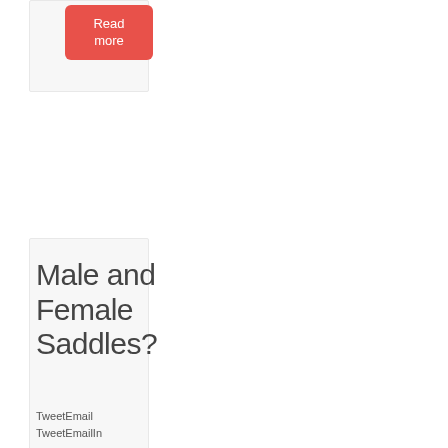[Figure (other): Red 'Read more' button on a light gray card background]
Male and Female Saddles?
TweetEmail TweetEmailIn